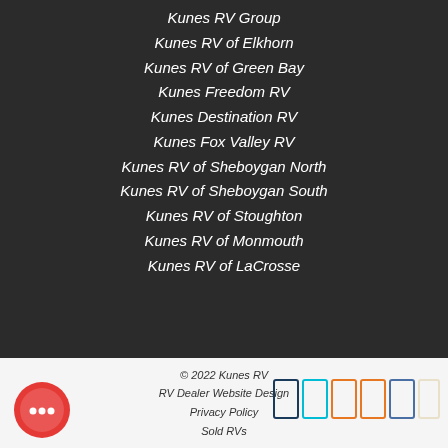Kunes RV Group
Kunes RV of Elkhorn
Kunes RV of Green Bay
Kunes Freedom RV
Kunes Destination RV
Kunes Fox Valley RV
Kunes RV of Sheboygan North
Kunes RV of Sheboygan South
Kunes RV of Stoughton
Kunes RV of Monmouth
Kunes RV of LaCrosse
© 2022 Kunes RV
RV Dealer Website Design
Privacy Policy
Sold RVs